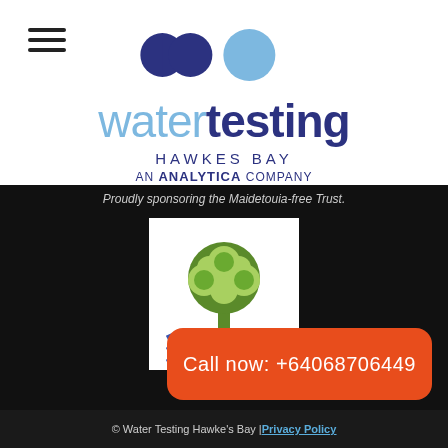[Figure (logo): Water Testing Hawkes Bay - An Analytica Company logo with two circular dumbbell shapes and a circle in blue/light blue, with the text 'watertesting HAWKES BAY AN ANALYTICA COMPANY']
Proudly sponsoring the Maidetouia-free Trust.
[Figure (logo): Maidetouia-free Trust logo featuring a green tree above blue wavy water lines on a white background]
Call now: +64068706449
© Water Testing Hawke's Bay | Privacy Policy